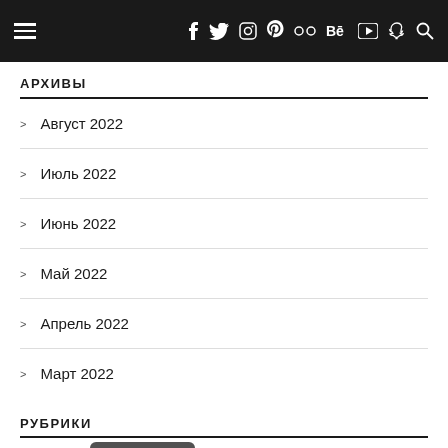Navigation header with hamburger menu and social icons
АРХИВЫ
Август 2022
Июль 2022
Июнь 2022
Май 2022
Апрель 2022
Март 2022
РУБРИКИ
Russian (language selector overlay)
Ж…